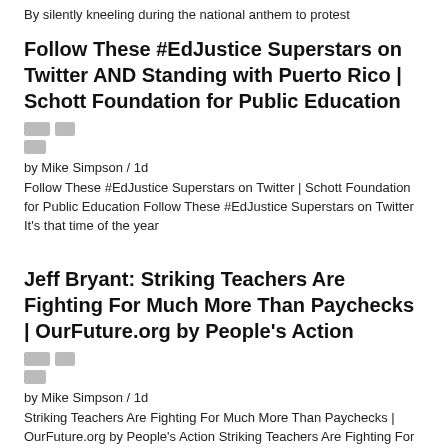By silently kneeling during the national anthem to protest
Follow These #EdJustice Superstars on Twitter AND Standing with Puerto Rico | Schott Foundation for Public Education
[Figure (other): Two small grey icon boxes and one smaller grey icon box representing social sharing or avatar icons]
by Mike Simpson / 1d
Follow These #EdJustice Superstars on Twitter | Schott Foundation for Public Education Follow These #EdJustice Superstars on Twitter It's that time of the year
Jeff Bryant: Striking Teachers Are Fighting For Much More Than Paychecks | OurFuture.org by People's Action
[Figure (other): Two small grey icon boxes and one smaller grey icon box representing social sharing or avatar icons]
by Mike Simpson / 1d
Striking Teachers Are Fighting For Much More Than Paychecks | OurFuture.org by People's Action Striking Teachers Are Fighting For Much More Than Paychecks